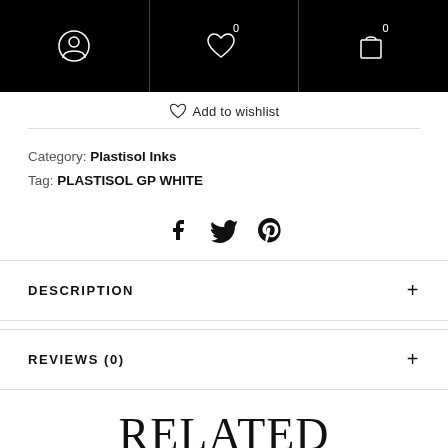Navigation header with user icon, wishlist (0), and cart (0) icons
Add to wishlist
Category: Plastisol Inks
Tag: PLASTISOL GP WHITE
[Figure (other): Social share icons: Facebook, Twitter, Pinterest]
DESCRIPTION
REVIEWS (0)
RELATED PRODUCTS